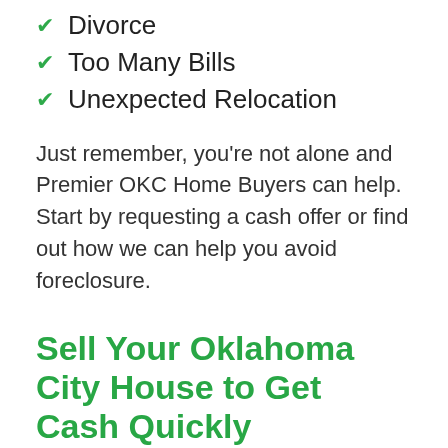Divorce
Too Many Bills
Unexpected Relocation
Just remember, you're not alone and Premier OKC Home Buyers can help. Start by requesting a cash offer or find out how we can help you avoid foreclosure.
Sell Your Oklahoma City House to Get Cash Quickly
Are you having financial trouble and need to free up some fast cash? The longer you own your house, the longer you'll be paying the mortgage, utilities, maintenance, and